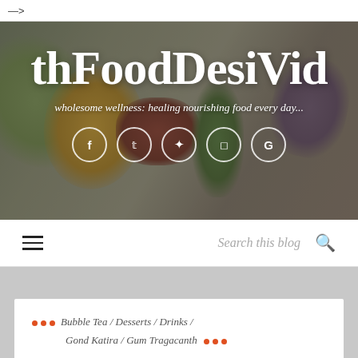—>
[Figure (photo): Hero banner photo of colorful spices on spoons (green, yellow, red) on a gray background with blog title 'thFoodDesiVid' and subtitle 'wholesome wellness: healing nourishing food every day...' and social media icons]
Search this blog
... Bubble Tea / Desserts / Drinks / Gond Katira / Gum Tragacanth ...
GOND KATIRA (GUM TRAGACANTH)